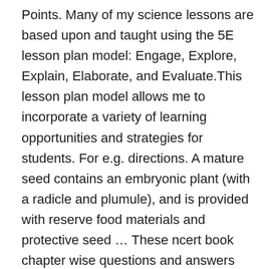Points. Many of my science lessons are based upon and taught using the 5E lesson plan model: Engage, Explore, Explain, Elaborate, and Evaluate.This lesson plan model allows me to incorporate a variety of learning opportunities and strategies for students. For e.g. directions. A mature seed contains an embryonic plant (with a radicle and plumule), and is provided with reserve food materials and protective seed … These ncert book chapter wise questions and answers are very helpful for CBSE exam. Why? Included here is a collection of visually appealing pdf charts, meticulously designed to identify and label the parts of the plant, comprehend the functions of each part of the plant and recognize the edible parts as well. . We Provide Solutions of Progress Check , MCQs, Very Short Answer Type, Short Answer Type And Long Answer Type Questions of Exercise-6 Seeds Structure and